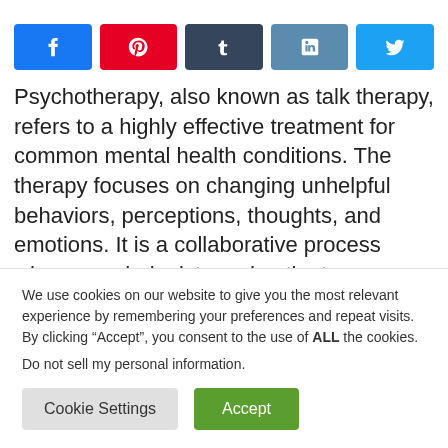[Figure (other): Social share buttons: Facebook, Pinterest, Tumblr, LinkedIn, Twitter]
Psychotherapy, also known as talk therapy, refers to a highly effective treatment for common mental health conditions. The therapy focuses on changing unhelpful behaviors, perceptions, thoughts, and emotions. It is a collaborative process where psychologists and patients
We use cookies on our website to give you the most relevant experience by remembering your preferences and repeat visits. By clicking “Accept”, you consent to the use of ALL the cookies.
Do not sell my personal information.